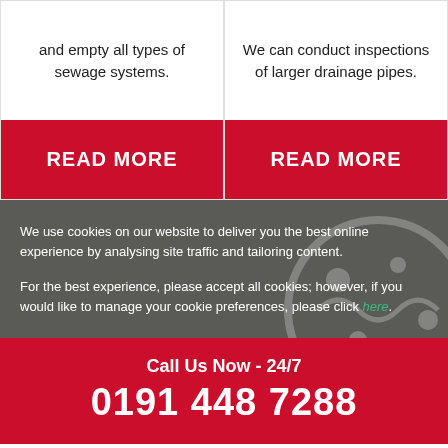and empty all types of sewage systems.
We can conduct inspections of larger drainage pipes.
READ MORE
READ MORE
We use cookies on our website to deliver you the best online experience by analysing site traffic and tailoring content.
For the best experience, please accept all cookies; however, if you would like to manage your cookie preferences, please click here.
Call Us Now - 24/7
0191 448 7288